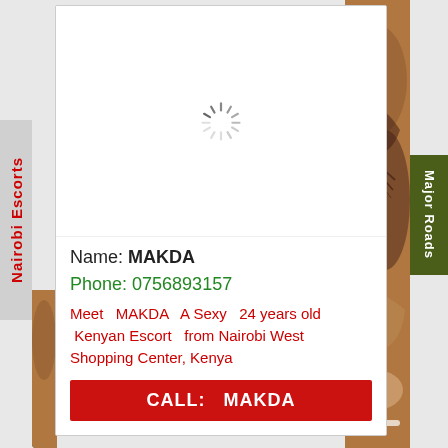Nairobi Escorts
Major Roads
[Figure (photo): Loading spinner / image placeholder for escort listing]
Name: MAKDA
Phone: 0756893157
Meet  MAKDA  A Sexy  24 years old  Kenyan Escort  from Nairobi West Shopping Center, Kenya
CALL:  MAKDA